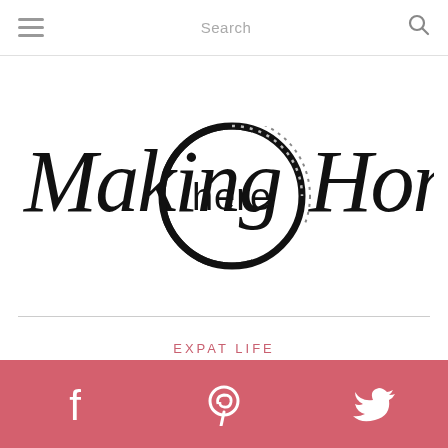Menu | Search
[Figure (logo): Making here Home logo — cursive script 'Making' and 'Home' flanking a circle with 'here' in sans-serif, with a dotted arc detail]
EXPAT LIFE
[Figure (infographic): Social media bar with Facebook, Pinterest, and Twitter icons on a rose/salmon pink background]